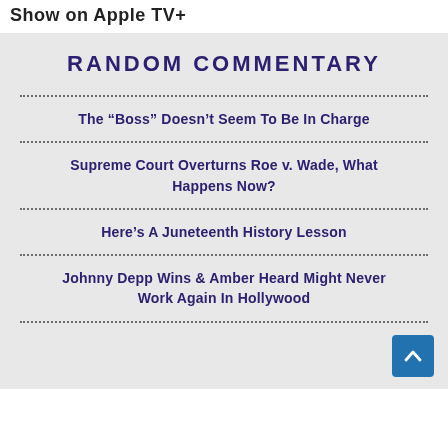Show on Apple TV+
RANDOM COMMENTARY
The “Boss” Doesn’t Seem To Be In Charge
Supreme Court Overturns Roe v. Wade, What Happens Now?
Here’s A Juneteenth History Lesson
Johnny Depp Wins & Amber Heard Might Never Work Again In Hollywood